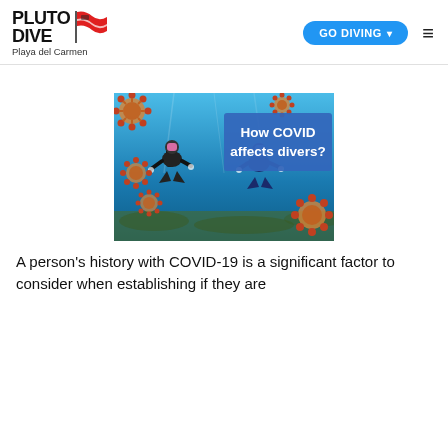PLUTO DIVE Playa del Carmen | GO DIVING ▾ ≡
[Figure (photo): Underwater photo showing two scuba divers in blue water with COVID-19 virus particles floating around them. A blue banner overlay reads 'How COVID affects divers?']
A person's history with COVID-19 is a significant factor to consider when establishing if they are